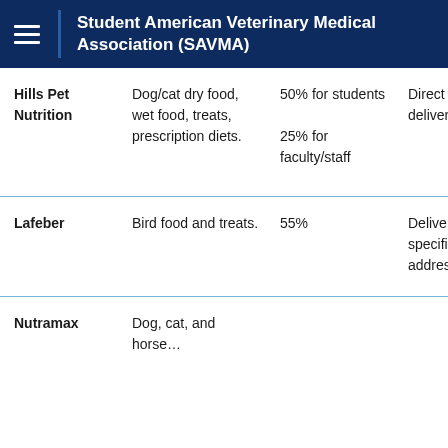Student American Veterinary Medical Association (SAVMA)
|  | Products | Discount | Delivery |
| --- | --- | --- | --- |
| Hills Pet Nutrition | Dog/cat dry food, wet food, treats, prescription diets. | 50% for students
25% for faculty/staff | Direct to home – delivery fee |
| Lafeber | Bird food and treats. | 55% | Delivery to specified address |
| Nutramax | Dog, cat, and horse... |  |  |